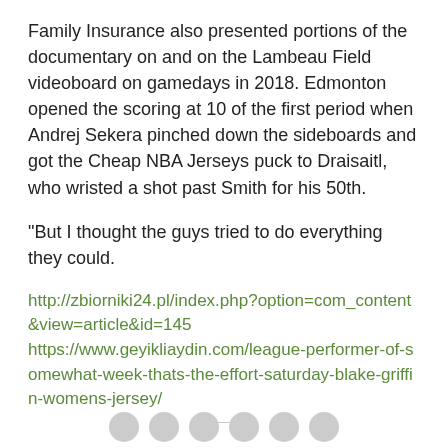Family Insurance also presented portions of the documentary on and on the Lambeau Field videoboard on gamedays in 2018. Edmonton opened the scoring at 10 of the first period when Andrej Sekera pinched down the sideboards and got the Cheap NBA Jerseys puck to Draisaitl, who wristed a shot past Smith for his 50th.
"But I thought the guys tried to do everything they could.
http://zbiorniki24.pl/index.php?option=com_content&view=article&id=145 https://www.geyikliaydin.com/league-performer-of-somewhat-week-thats-the-effort-saturday-blake-griffin-womens-jersey/